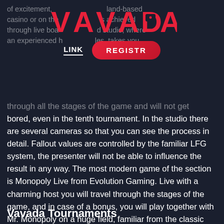[Figure (logo): VAVADA logo in red stylized text with a camera icon]
of excitement, whether in a land-based casino or on the internet, is achieved through live board games in a specialized studio, where an experienced host, who knows all the rules, takes you through all the stages of the game and will not get bored, even in the tenth tournament. In the studio there are several cameras so that you can see the process in detail. Fallout values are controlled by the familiar LFG system, the presenter will not be able to influence the result in any way. The most modern game of the section is Monopoly Live from Evolution Gaming. Live with a charming host you will travel through the stages of the game, and in case of a bonus, you will play together with Mr. Monopoly on a huge field, familiar from the classic board game. This game uses 3D augmented reality technology, and the program itself has been in development for 2 years.
Vavada Tournaments